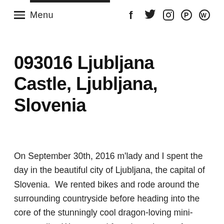≡ Menu  f  🐦  📷   pinterest  wordpress
093016 Ljubljana Castle, Ljubljana, Slovenia
On September 30th, 2016 m'lady and I spent the day in the beautiful city of Ljubljana, the capital of Slovenia.  We rented bikes and rode around the surrounding countryside before heading into the core of the stunningly cool dragon-loving mini-metropolis.  We stopped for a horseburger for lunch (when in Rome…), visited a great park and explored